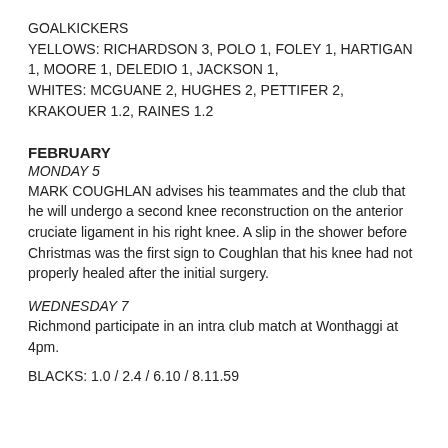GOALKICKERS
YELLOWS: RICHARDSON 3, POLO 1, FOLEY 1, HARTIGAN 1, MOORE 1, DELEDIO 1, JACKSON 1,
WHITES: MCGUANE 2, HUGHES 2, PETTIFER 2, KRAKOUER 1.2, RAINES 1.2
FEBRUARY
MONDAY 5
MARK COUGHLAN advises his teammates and the club that he will undergo a second knee reconstruction on the anterior cruciate ligament in his right knee. A slip in the shower before Christmas was the first sign to Coughlan that his knee had not properly healed after the initial surgery.
WEDNESDAY 7
Richmond participate in an intra club match at Wonthaggi at 4pm.
BLACKS: 1.0 / 2.4 / 6.10 / 8.11.59